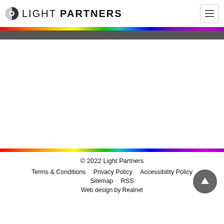LIGHT PARTNERS
[Figure (illustration): Rainbow spectrum gradient bar (red to purple) followed by a dark gray banner below the header]
[Figure (illustration): Rainbow spectrum gradient bar (red to purple) above the footer]
© 2022 Light Partners
Terms & Conditions   Privacy Policy   Accessibility Policy
Sitemap   RSS
Web design by Realnet